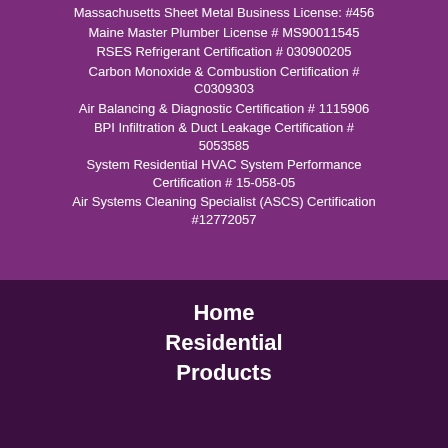Massachusetts Sheet Metal Business License: #456
Maine Master Plumber License # MS90011545
RSES Refrigerant Certification # 030900205
Carbon Monoxide & Combustion Certification # C0309303
Air Balancing & Diagnostic Certification # 1115906
BPI Infiltration & Duct Leakage Certification # 5053585
System Residential HVAC System Performance Certification # 15-058-05
Air Systems Cleaning Specialist (ASCS) Certification #12772057
Home
Residential
Products